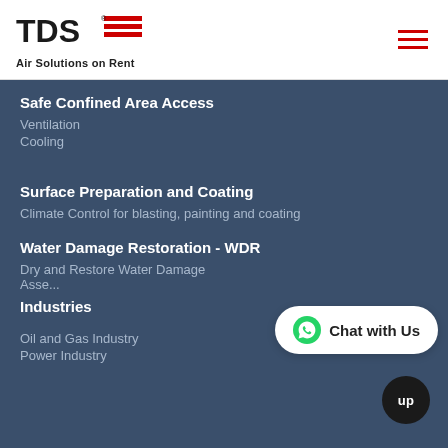[Figure (logo): TDS logo with red stripe design and 'Air Solutions on Rent' tagline]
Safe Confined Area Access
Ventilation
Cooling
Surface Preparation and Coating
Climate Control for blasting, painting and coating
Water Damage Restoration - WDR
Dry and Restore Water Damage Assets
Industries
Oil and Gas Industry
Power Industry